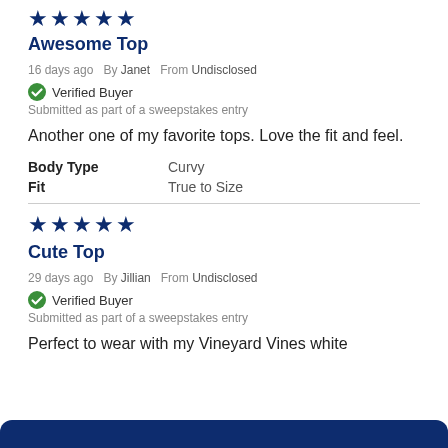★★★★★
Awesome Top
16 days ago  By Janet  From Undisclosed
✓ Verified Buyer
Submitted as part of a sweepstakes entry
Another one of my favorite tops. Love the fit and feel.
| Attribute | Value |
| --- | --- |
| Body Type | Curvy |
| Fit | True to Size |
★★★★★
Cute Top
29 days ago  By Jillian  From Undisclosed
✓ Verified Buyer
Submitted as part of a sweepstakes entry
Perfect to wear with my Vineyard Vines white